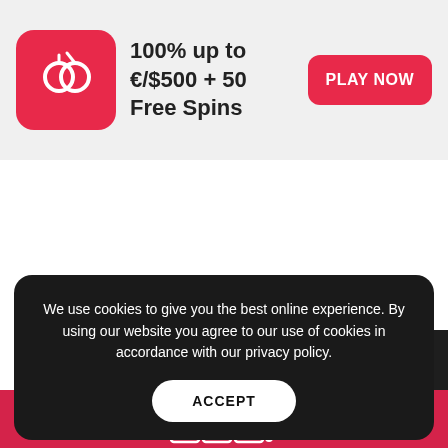[Figure (screenshot): Casino website banner with red rounded-square icon showing two interlocked circles (slot machine cherries symbol), bold text '100% up to €/$500 + 50 Free Spins', and a red 'PLAY NOW' button on a light gray background]
100% up to €/$500 + 50 Free Spins
[Figure (screenshot): Dark navigation arrow '<' button on right side of white content area]
[Figure (illustration): Slot machine 777 icon in white outline on red background]
We use cookies to give you the best online experience. By using our website you agree to our use of cookies in accordance with our privacy policy.